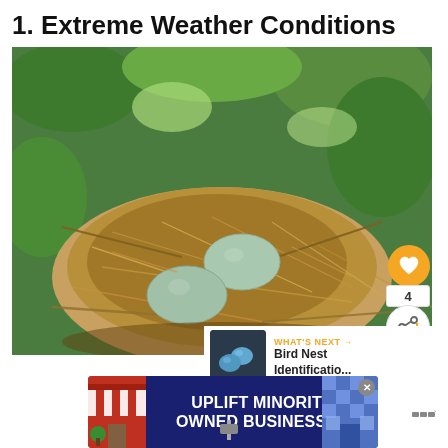1. Extreme Weather Conditions
[Figure (photo): Photo of a bird nest with two pale blue-green eggs, surrounded by twigs and leaves, with social interaction buttons (heart, share) and a count of 4 overlaid on the right side.]
[Figure (screenshot): "WHAT'S NEXT" promo panel showing a thumbnail of blue eggs and text 'Bird Nest Identificatio...']
[Figure (photo): Advertisement banner reading 'UPLIFT MINORITY OWNED BUSINESSES' on a dark blue background with storefront graphics on the sides and a close button.]